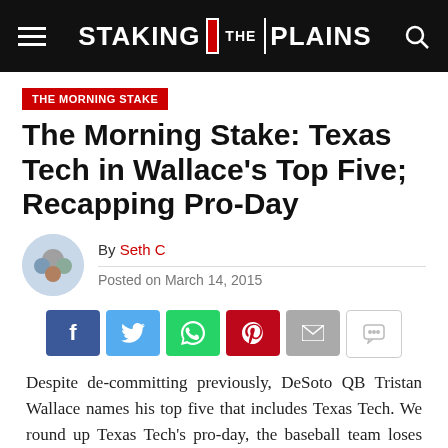STAKING THE PLAINS
THE MORNING STAKE
The Morning Stake: Texas Tech in Wallace's Top Five; Recapping Pro-Day
By Seth C
Posted on March 14, 2015
Despite de-committing previously, DeSoto QB Tristan Wallace names his top five that includes Texas Tech. We round up Texas Tech's pro-day, the baseball team loses out West and we discuss fake female college boosters on Twitter.